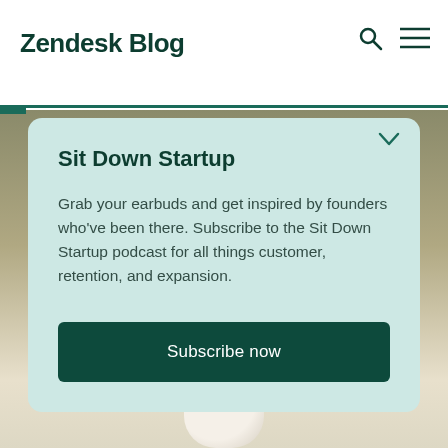Zendesk Blog
Sit Down Startup
Grab your earbuds and get inspired by founders who've been there. Subscribe to the Sit Down Startup podcast for all things customer, retention, and expansion.
Subscribe now